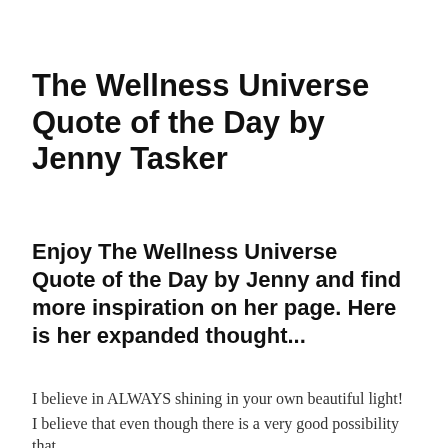The Wellness Universe Quote of the Day by Jenny Tasker
Enjoy The Wellness Universe Quote of the Day by Jenny and find more inspiration on her page. Here is her expanded thought...
I believe in ALWAYS shining in your own beautiful light!
I believe that even though there is a very good possibility that